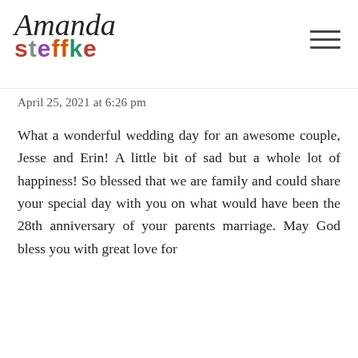Amanda Steffke
April 25, 2021 at 6:26 pm
What a wonderful wedding day for an awesome couple, Jesse and Erin! A little bit of sad but a whole lot of happiness! So blessed that we are family and could share your special day with you on what would have been the 28th anniversary of your parents marriage. May God bless you with great love for